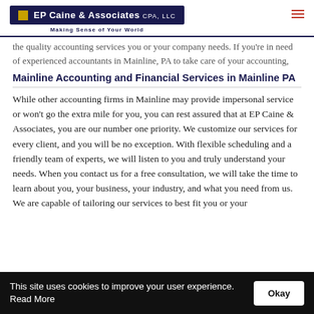EP Caine & Associates CPA, LLC — Making Sense of Your World
the quality accounting services you or your company needs. If you're in need of experienced accountants in Mainline, PA to take care of your accounting, taxes, bookkeeping, or business consulting with personalized services, give EP Caine & Associates a call at (610) 525-2933 or contact us online here.
Mainline Accounting and Financial Services in Mainline PA
While other accounting firms in Mainline may provide impersonal service or won't go the extra mile for you, you can rest assured that at EP Caine & Associates, you are our number one priority. We customize our services for every client, and you will be no exception. With flexible scheduling and a friendly team of experts, we will listen to you and truly understand your needs. When you contact us for a free consultation, we will take the time to learn about you, your business, your industry, and what you need from us. We are capable of tailoring our services to best fit you or your
This site uses cookies to improve your user experience. Read More